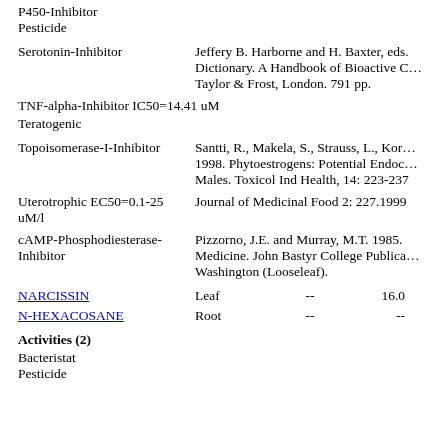P450-Inhibitor
Pesticide
Serotonin-Inhibitor
Jeffery B. Harborne and H. Baxter, eds. Dictionary. A Handbook of Bioactive C… Taylor & Frost, London. 791 pp.
TNF-alpha-Inhibitor IC50=14.41 uM
Teratogenic
Topoisomerase-I-Inhibitor
Santti, R., Makela, S., Strauss, L., Kor… 1998. Phytoestrogens: Potential Endoc… Males. Toxicol Ind Health, 14: 223-237
Uterotrophic EC50=0.1-25 uM/l
Journal of Medicinal Food 2: 227.1999
cAMP-Phosphodiesterase-Inhibitor
Pizzorno, J.E. and Murray, M.T. 1985. Medicine. John Bastyr College Publica… Washington (Looseleaf).
NARCISSIN   Leaf   --   16.0
N-HEXACOSANE   Root   --   --
Activities (2)
Bacteristat
Pesticide